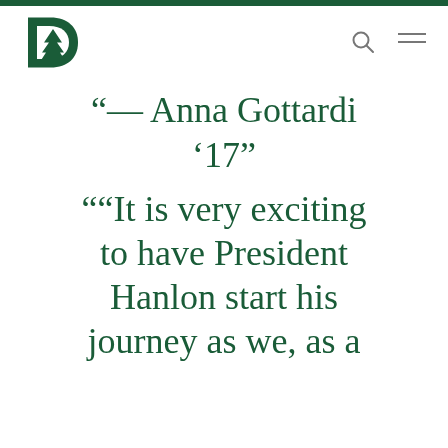Dartmouth College navigation header with logo
“— Anna Gottardi ’17”
““It is very exciting to have President Hanlon start his journey as we, as a